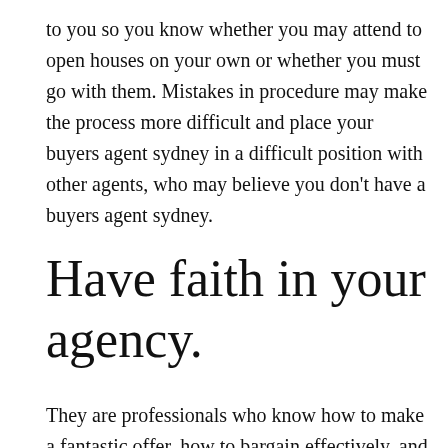to you so you know whether you may attend to open houses on your own or whether you must go with them. Mistakes in procedure may make the process more difficult and place your buyers agent sydney in a difficult position with other agents, who may believe you don't have a buyers agent sydney.
Have faith in your agency.
They are professionals who know how to make a fantastic offer, how to bargain effectively, and can anticipate...